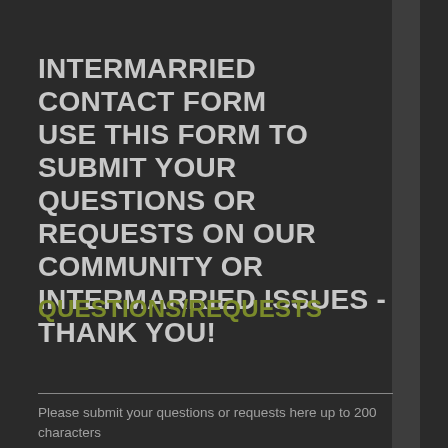INTERMARRIED CONTACT FORM
USE THIS FORM TO SUBMIT YOUR QUESTIONS OR REQUESTS ON OUR COMMUNITY OR INTERMARRIED ISSUES - THANK YOU!
QUESTIONS/REQUESTS
Please submit your questions or requests here up to 200 characters